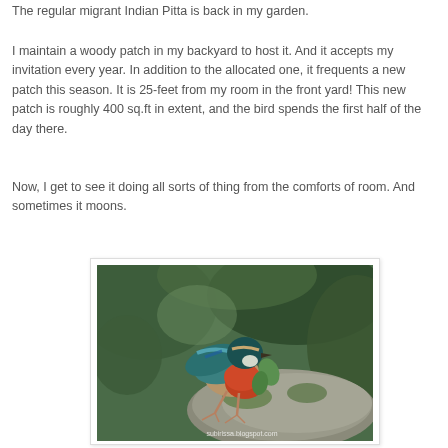The regular migrant Indian Pitta is back in my garden.
I maintain a woody patch in my backyard to host it. And it accepts my invitation every year. In addition to the allocated one, it frequents a new patch this season. It is 25-feet from my room in the front yard! This new patch is roughly 400 sq.ft in extent, and the bird spends the first half of the day there.
Now, I get to see it doing all sorts of thing from the comforts of room. And sometimes it moons.
[Figure (photo): Indian Pitta bird perched on a mossy rock in a garden setting, showing colorful plumage with teal, orange-red, and buff colors. Watermark reads subirissa.blogspot.com]